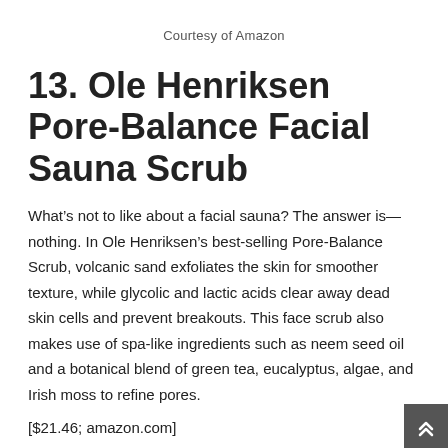Courtesy of Amazon
13. Ole Henriksen Pore-Balance Facial Sauna Scrub
What’s not to like about a facial sauna? The answer is—nothing. In Ole Henriksen’s best-selling Pore-Balance Scrub, volcanic sand exfoliates the skin for smoother texture, while glycolic and lactic acids clear away dead skin cells and prevent breakouts. This face scrub also makes use of spa-like ingredients such as neem seed oil and a botanical blend of green tea, eucalyptus, algae, and Irish moss to refine pores.
[$21.46; amazon.com]